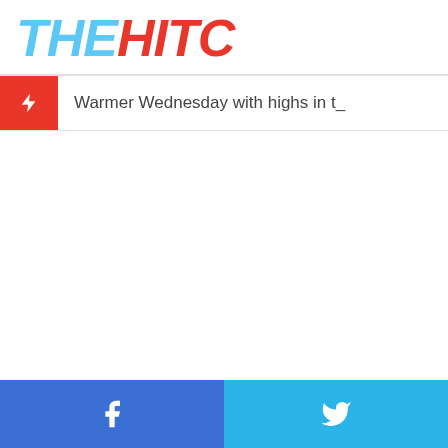THEHITC
Warmer Wednesday with highs in t_
Facebook | Twitter